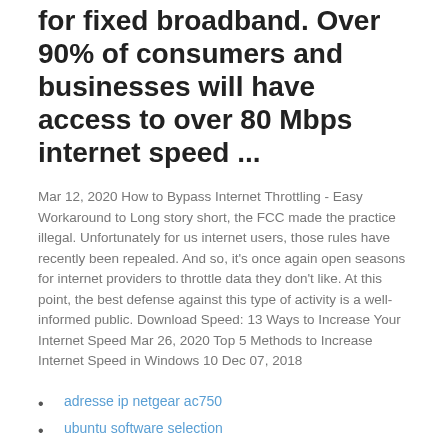for fixed broadband. Over 90% of consumers and businesses will have access to over 80 Mbps internet speed ...
Mar 12, 2020 How to Bypass Internet Throttling - Easy Workaround to Long story short, the FCC made the practice illegal. Unfortunately for us internet users, those rules have recently been repealed. And so, it's once again open seasons for internet providers to throttle data they don't like. At this point, the best defense against this type of activity is a well-informed public. Download Speed: 13 Ways to Increase Your Internet Speed Mar 26, 2020 Top 5 Methods to Increase Internet Speed in Windows 10 Dec 07, 2018
adresse ip netgear ac750
ubuntu software selection
vpn.sh server list
how to use tor browser
meilleurs constructeurs firestick kodi 17.0